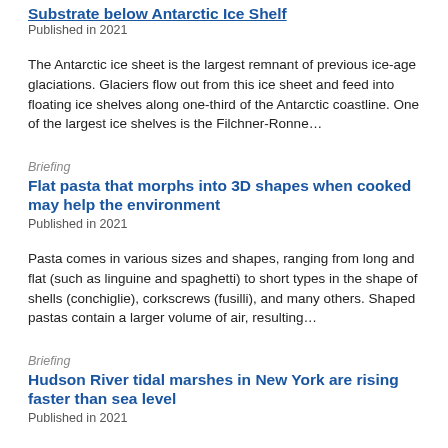Substrate below Antarctic Ice Shelf
Published in 2021
The Antarctic ice sheet is the largest remnant of previous ice-age glaciations. Glaciers flow out from this ice sheet and feed into floating ice shelves along one-third of the Antarctic coastline. One of the largest ice shelves is the Filchner-Ronne…
Briefing
Flat pasta that morphs into 3D shapes when cooked may help the environment
Published in 2021
Pasta comes in various sizes and shapes, ranging from long and flat (such as linguine and spaghetti) to short types in the shape of shells (conchiglie), corkscrews (fusilli), and many others. Shaped pastas contain a larger volume of air, resulting…
Briefing
Hudson River tidal marshes in New York are rising faster than sea level
Published in 2021